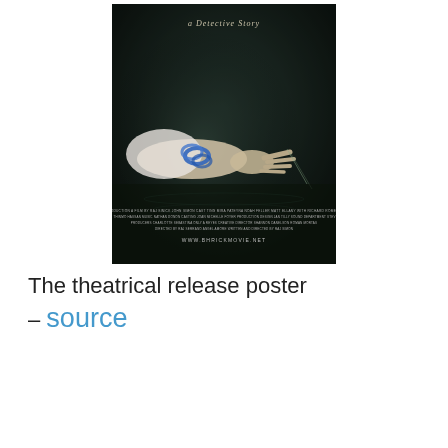[Figure (photo): Theatrical release poster for a detective story film. Dark background with a hand/arm wearing blue bands/bracelets reaching or scratching. Text at bottom reads 'a Detective Story' at top, credits in small text, and website www.bhrickmovie.net]
The theatrical release poster – source